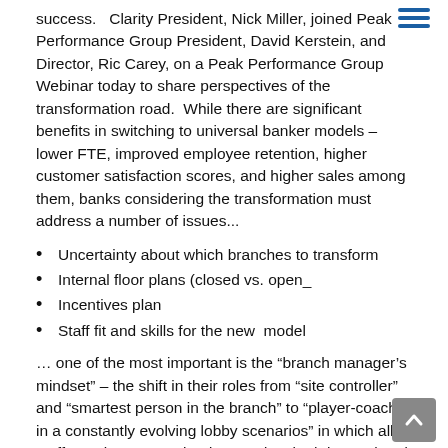success.   Clarity President, Nick Miller, joined Peak Performance Group President, David Kerstein, and Director, Ric Carey, on a Peak Performance Group Webinar today to share perspectives of the transformation road.  While there are significant benefits in switching to universal banker models – lower FTE, improved employee retention, higher customer satisfaction scores, and higher sales among them, banks considering the transformation must address a number of issues...
Uncertainty about which branches to transform
Internal floor plans (closed vs. open_
Incentives plan
Staff fit and skills for the new  model
... one of the most important is the “branch manager’s mindset” – the shift in their roles from “site controller” and “smartest person in the branch” to “player-coach in a constantly evolving lobby scenarios” in which all staff members are trained to conduct both internal and external sales activities for all branch-delivered products and services.